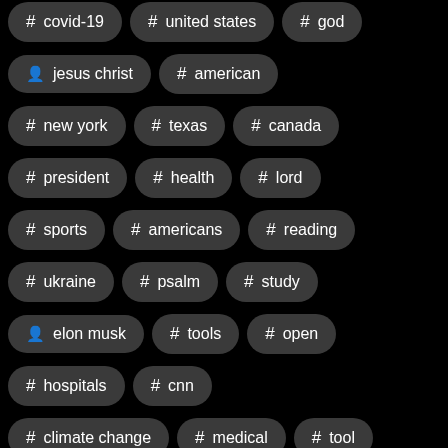# covid-19  # united states  # god
👤 jesus christ  # american
# new york  # texas  # canada
# president  # health  # lord
# sports  # americans  # reading
# ukraine  # psalm  # study
👤 elon musk  # tools  # open
# hospitals  # cnn
# climate change  # medical  # tool